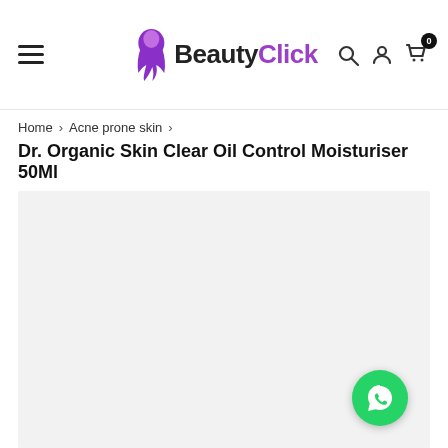[Figure (logo): BeautyClick logo with purple hair icon and bold text 'BeautyClick']
Home > Acne prone skin >
Dr. Organic Skin Clear Oil Control Moisturiser 50Ml
[Figure (photo): Large light grey product image placeholder area for the moisturiser product with a WhatsApp chat button (green circle with white phone icon) in the bottom right corner]